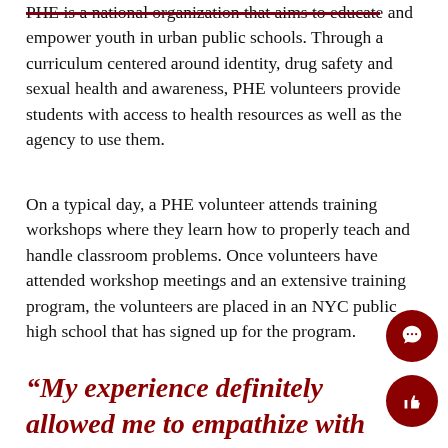PHE is a national organization that aims to educate and empower youth in urban public schools. Through a curriculum centered around identity, drug safety and sexual health and awareness, PHE volunteers provide students with access to health resources as well as the agency to use them.
On a typical day, a PHE volunteer attends training workshops where they learn how to properly teach and handle classroom problems. Once volunteers have attended workshop meetings and an extensive training program, the volunteers are placed in an NYC public high school that has signed up for the program.
“My experience definitely allowed me to empathize with